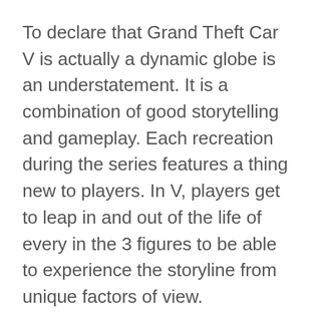To declare that Grand Theft Car V is actually a dynamic globe is an understatement. It is a combination of good storytelling and gameplay. Each recreation during the series features a thing new to players. In V, players get to leap in and out of the life of every in the 3 figures to be able to experience the storyline from unique factors of view.
New screenshots of the sport are now being released on a regular basis. In case you check out them, you can expect to observe the quality of the graphics. Up to now, the graphics of the sport are